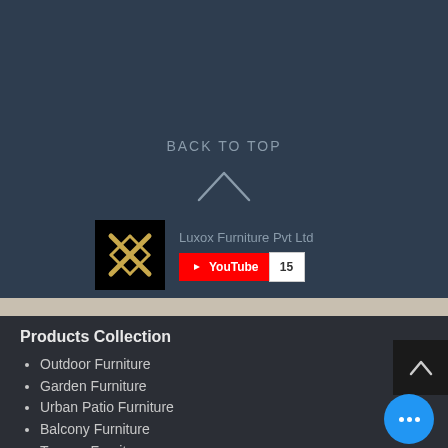BACK TO TOP
[Figure (illustration): Upward chevron arrow icon]
[Figure (logo): Luxox Furniture logo — black square with golden X pattern]
Luxox Furniture Pvt Ltd
[Figure (screenshot): YouTube subscribe button widget showing count 15]
Products Collection
Outdoor Furniture
Garden Furniture
Urban Patio Furniture
Balcony Furniture
Terrace Furniture
Outdoor Wicker Furniture
Braid Rope Strap & Cord Furniture